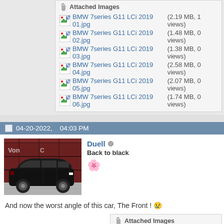BMW 7series G11 LCi 2019 01.jpg (2.19 MB, 1 views)
BMW 7series G11 LCi 2019 02.jpg (1.48 MB, 0 views)
BMW 7series G11 LCi 2019 03.jpg (1.38 MB, 0 views)
BMW 7series G11 LCi 2019 04.jpg (2.58 MB, 0 views)
BMW 7series G11 LCi 2019 05.jpg (2.07 MB, 0 views)
BMW 7series G11 LCi 2019 06.jpg (1.74 MB, 0 views)
04-20-2022, 04:03 PM
[Figure (photo): Black station wagon / estate car parked in front of red shipping containers]
Duell — Back to black
And now the worst angle of this car, The Front !
BMW 7series G11 LCi 2019 07.jpg (1.74 MB, 0 views)
BMW 7series G11 LCi 2019 10.jpg (1.40 MB, 0 views)
BMW 7series G11 LCi 2019 11.jpg (1.67 MB, 2 views)